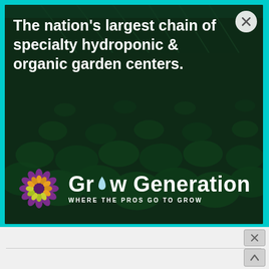[Figure (illustration): GrowGeneration advertisement banner showing a hydroponic greenhouse with rows of green plants viewed in perspective. White bold text reads 'The nation's largest chain of specialty hydroponic & organic garden centers.' The GrowGeneration logo with a flower/sunflower icon and tagline 'WHERE THE PROS GO TO GROW' appear in the lower left. A close (X) button appears in the top right. The ad sits on a teal/cyan border. Below the ad is a light grey bar with an X close button and a chevron/up-arrow button on the right.]